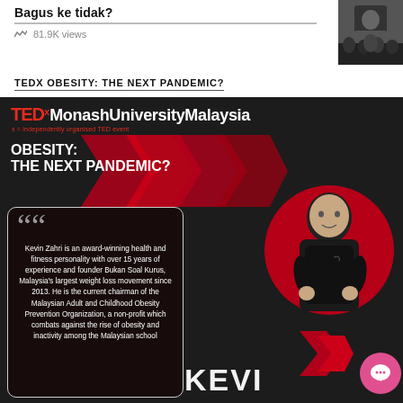Bagus ke tidak?
81.9K views
[Figure (photo): Black and white thumbnail photo of a person]
TEDX OBESITY: THE NEXT PANDEMIC?
[Figure (infographic): TEDx MonashUniversityMalaysia event poster with dark background. Shows 'OBESITY: THE NEXT PANDEMIC?' heading with red chevron. Quote box with text: Kevin Zahri is an award-winning health and fitness personality with over 15 years of experience and founder Bukan Soal Kurus, Malaysia's largest weight loss movement since 2013. He is the current chairman of the Malaysian Adult and Childhood Obesity Prevention Organization, a non-profit which combats against the rise of obesity and inactivity among the Malaysian school... Photo of Kevin Zahri in a red circle, and KEVIN text at bottom.]